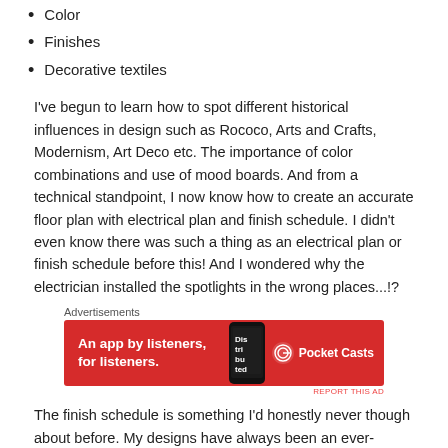Color
Finishes
Decorative textiles
I've begun to learn how to spot different historical influences in design such as Rococo, Arts and Crafts, Modernism, Art Deco etc. The importance of color combinations and use of mood boards. And from a technical standpoint, I now know how to create an accurate floor plan with electrical plan and finish schedule. I didn't even know there was such a thing as an electrical plan or finish schedule before this! And I wondered why the electrician installed the spotlights in the wrong places...!?
[Figure (other): Advertisement banner for Pocket Casts: 'An app by listeners, for listeners.' with red background and phone image]
The finish schedule is something I'd honestly never though about before. My designs have always been an ever-evolving process over a number of years, as we've saved the money to fund our renovations. But even so, a mood board and finish schedule are things that I'll now be sure to think about in my future renovations to ensure that the whole house is cohesive